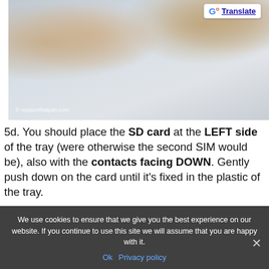[Figure (photo): Close-up of fingers holding an SD card and a SIM card tray, showing how to place the card. Watermark: © replacethatpart.com]
5d. You should place the SD card at the LEFT side of the tray (were otherwise the second SIM would be), also with the contacts facing DOWN. Gently push down on the card until it's fixed in the plastic of the tray.
[Figure (photo): Close-up photo of a hand pressing down on an SD card in a tray]
We use cookies to ensure that we give you the best experience on our website. If you continue to use this site we will assume that you are happy with it.
Ok  Privacy policy